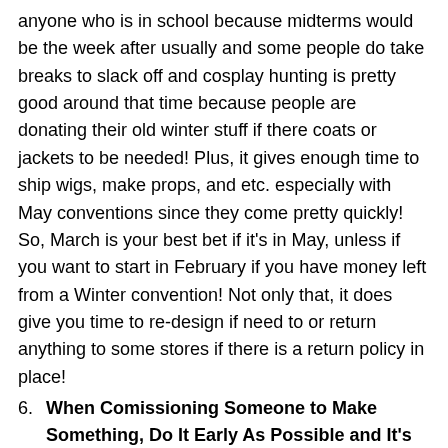anyone who is in school because midterms would be the week after usually and some people do take breaks to slack off and cosplay hunting is pretty good around that time because people are donating their old winter stuff if there coats or jackets to be needed! Plus, it gives enough time to ship wigs, make props, and etc. especially with May conventions since they come pretty quickly! So, March is your best bet if it's in May, unless if you want to start in February if you have money left from a Winter convention! Not only that, it does give you time to re-design if need to or return anything to some stores if there is a return policy in place!
6. When Comissioning Someone to Make Something, Do It Early As Possible and It's Someone You Trust! Speaking of time, commissioning someone to